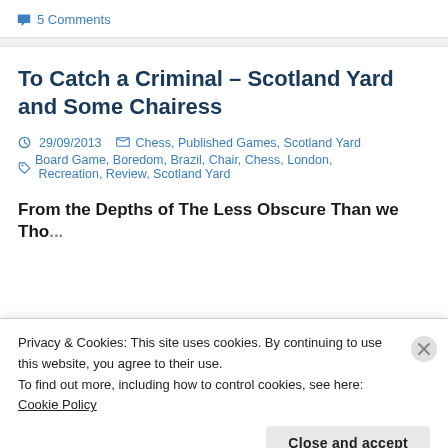5 Comments
To Catch a Criminal – Scotland Yard and Some Chairess
29/09/2013   Chess, Published Games, Scotland Yard
Board Game, Boredom, Brazil, Chair, Chess, London, Recreation, Review, Scotland Yard
From the Depths of The Less Obscure Than we Thought...
Privacy & Cookies: This site uses cookies. By continuing to use this website, you agree to their use.
To find out more, including how to control cookies, see here: Cookie Policy
Close and accept